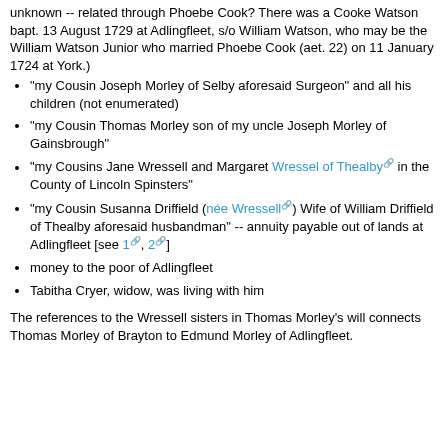unknown -- related through Phoebe Cook? There was a Cooke Watson bapt. 13 August 1729 at Adlingfleet, s/o William Watson, who may be the William Watson Junior who married Phoebe Cook (aet. 22) on 11 January 1724 at York.)
"my Cousin Joseph Morley of Selby aforesaid Surgeon" and all his children (not enumerated)
"my Cousin Thomas Morley son of my uncle Joseph Morley of Gainsbrough"
"my Cousins Jane Wressell and Margaret Wressel of Thealby in the County of Lincoln Spinsters"
"my Cousin Susanna Driffield (née Wressell) Wife of William Driffield of Thealby aforesaid husbandman" -- annuity payable out of lands at Adlingfleet [see 1, 2]
money to the poor of Adlingfleet
Tabitha Cryer, widow, was living with him
The references to the Wressell sisters in Thomas Morley's will connects Thomas Morley of Brayton to Edmund Morley of Adlingfleet.